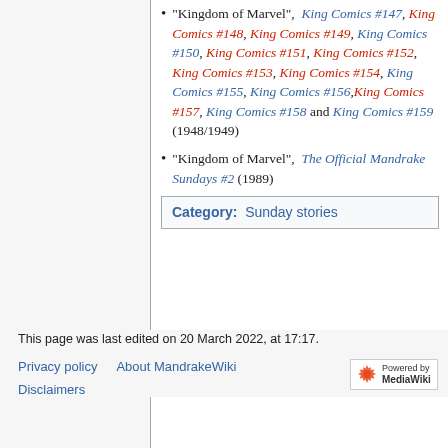"Kingdom of Marvel", King Comics #147, King Comics #148, King Comics #149, King Comics #150, King Comics #151, King Comics #152, King Comics #153, King Comics #154, King Comics #155, King Comics #156, King Comics #157, King Comics #158 and King Comics #159 (1948/1949)
"Kingdom of Marvel", The Official Mandrake Sundays #2 (1989)
Category: Sunday stories
This page was last edited on 20 March 2022, at 17:17.
Privacy policy   About MandrakeWiki   Disclaimers